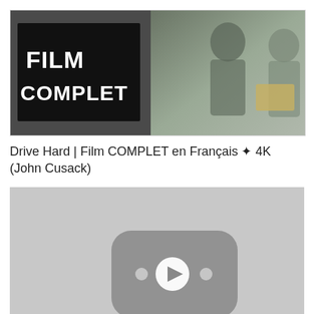[Figure (screenshot): Movie thumbnail image showing 'FILM COMPLET' text on dark background with person(s) visible on the right side]
Drive Hard | Film COMPLET en Français ✦ 4K (John Cusack)
[Figure (screenshot): Gray video player placeholder with YouTube-style play button icon in the center]